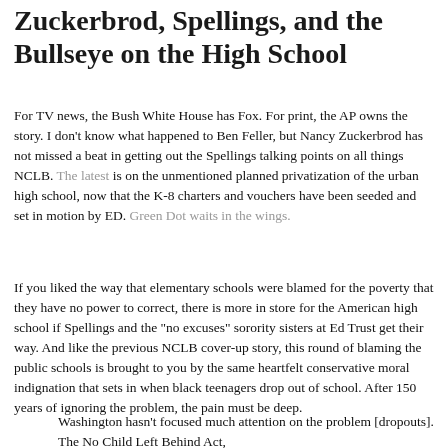Zuckerbrod, Spellings, and the Bullseye on the High School
For TV news, the Bush White House has Fox. For print, the AP owns the story. I don't know what happened to Ben Feller, but Nancy Zuckerbrod has not missed a beat in getting out the Spellings talking points on all things NCLB. The latest is on the unmentioned planned privatization of the urban high school, now that the K-8 charters and vouchers have been seeded and set in motion by ED. Green Dot waits in the wings.
If you liked the way that elementary schools were blamed for the poverty that they have no power to correct, there is more in store for the American high school if Spellings and the "no excuses" sorority sisters at Ed Trust get their way. And like the previous NCLB cover-up story, this round of blaming the public schools is brought to you by the same heartfelt conservative moral indignation that sets in when black teenagers drop out of school. After 150 years of ignoring the problem, the pain must be deep.
Washington hasn't focused much attention on the problem [dropouts]. The No Child Left Behind Act,